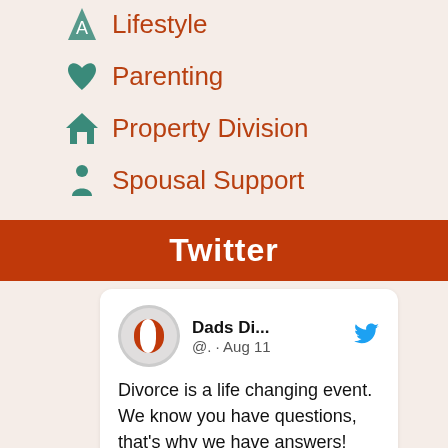Lifestyle
Parenting
Property Division
Spousal Support
Twitter
Dads Di... @. · Aug 11 Divorce is a life changing event. We know you have questions, that's why we have answers! Join us during our August Virtual Town Hall Meeting, where a panel of family law attorneys will be present to answer your questions. #dadtalltownhall